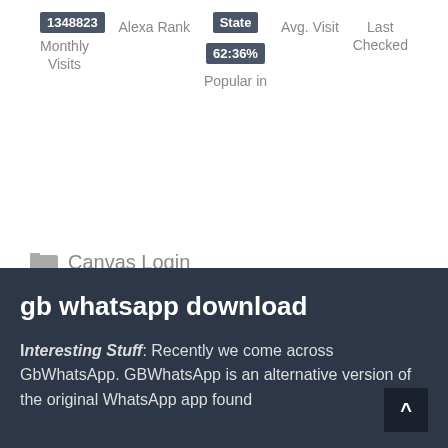1348823
Alexa Rank
State
Avg. Visit
Last Checked
Monthly Visits
62:36%
Popular in
Canvas Login
gb whatsapp download
Interesting Stuff: Recently we come across GbWhatsApp. GBWhatsApp is an alternative version of the original WhatsApp app found